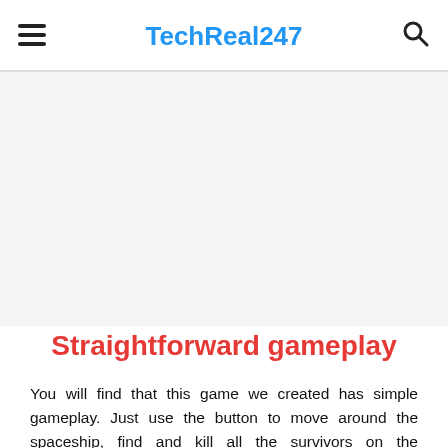TechReal247
[Figure (other): Advertisement or blank content area below the navigation header]
Straightforward gameplay
You will find that this game we created has simple gameplay. Just use the button to move around the spaceship, find and kill all the survivors on the spaceship. When around the strange ship, there are countless enemies. You have to kill them all. Avoid being noticed to complete the game. Extremely simple,